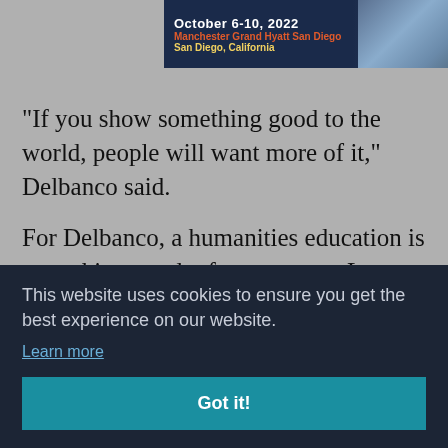[Figure (screenshot): Conference banner showing 'October 6-10, 2022', 'Manchester Grand Hyatt San Diego', 'San Diego, California' with a city skyline photo on the right]
“If you show something good to the world, people will want more of it,” Delbanco said.
For Delbanco, a humanities education is something good – for everyone. Low-income students might not think of the humanities as [partially obscured] ry [partially obscured] ing in [partially obscured] e [partially obscured] t college cost and post-college employment to
This website uses cookies to ensure you get the best experience on our website.
Learn more
Got it!